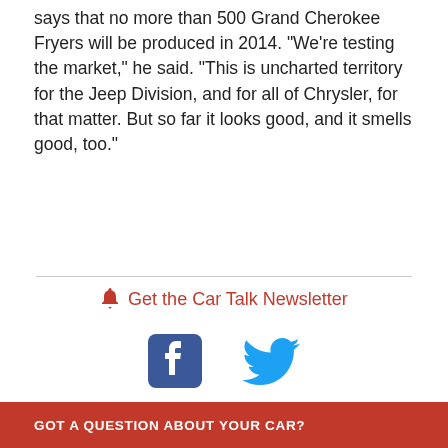says that no more than 500 Grand Cherokee Fryers will be produced in 2014. “We’re testing the market,” he said. “This is uncharted territory for the Jeep Division, and for all of Chrysler, for that matter. But so far it looks good, and it smells good, too.”
🔔 Get the Car Talk Newsletter
[Figure (other): Facebook and Twitter social media icons for sharing]
Recent stories   Archives   Browse by tag
GOT A QUESTION ABOUT YOUR CAR?